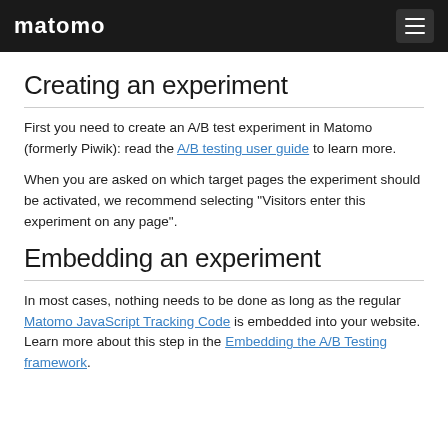matomo
Creating an experiment
First you need to create an A/B test experiment in Matomo (formerly Piwik): read the A/B testing user guide to learn more.
When you are asked on which target pages the experiment should be activated, we recommend selecting "Visitors enter this experiment on any page".
Embedding an experiment
In most cases, nothing needs to be done as long as the regular Matomo JavaScript Tracking Code is embedded into your website. Learn more about this step in the Embedding the A/B Testing framework.